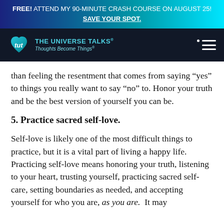FREE! ATTEND MY 90-MINUTE CRASH COURSE ON AUGUST 25! SAVE YOUR SPOT.
[Figure (logo): The Universe Talks logo with teal heart and hamburger menu on dark navy background]
than feeling the resentment that comes from saying “yes” to things you really want to say “no” to. Honor your truth and be the best version of yourself you can be.
5. Practice sacred self-love.
Self-love is likely one of the most difficult things to practice, but it is a vital part of living a happy life. Practicing self-love means honoring your truth, listening to your heart, trusting yourself, practicing sacred self-care, setting boundaries as needed, and accepting yourself for who you are, as you are.  It may